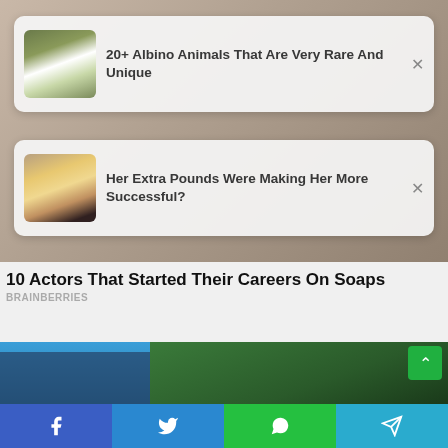[Figure (screenshot): Ad card 1: thumbnail of albino animals with text '20+ Albino Animals That Are Very Rare And Unique' and close button]
[Figure (screenshot): Ad card 2: thumbnail of blonde woman with text 'Her Extra Pounds Were Making Her More Successful?' and close button]
10 Actors That Started Their Careers On Soaps
BRAINBERRIES
[Figure (photo): Background photo of car and trees]
[Figure (infographic): Social sharing bar with Facebook, Twitter, WhatsApp, and Telegram buttons]